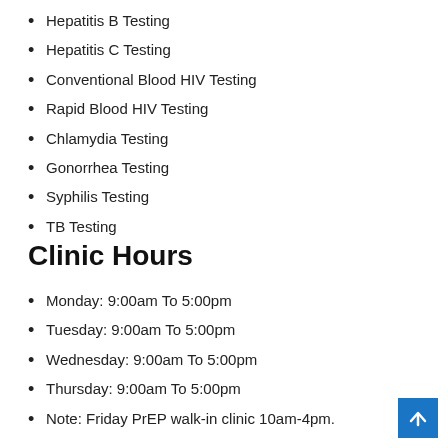Hepatitis B Testing
Hepatitis C Testing
Conventional Blood HIV Testing
Rapid Blood HIV Testing
Chlamydia Testing
Gonorrhea Testing
Syphilis Testing
TB Testing
Clinic Hours
Monday: 9:00am To 5:00pm
Tuesday: 9:00am To 5:00pm
Wednesday: 9:00am To 5:00pm
Thursday: 9:00am To 5:00pm
Note: Friday PrEP walk-in clinic 10am-4pm.